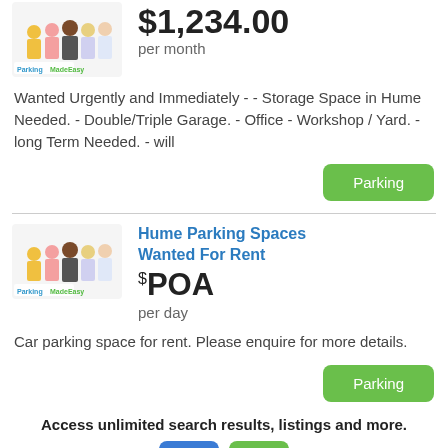[Figure (illustration): ParkingMadeEasy thumbnail with group of people]
$1,234.00 per month
Wanted Urgently and Immediately - - Storage Space in Hume Needed. - Double/Triple Garage. - Office - Workshop / Yard. - long Term Needed. - will
Parking
[Figure (illustration): ParkingMadeEasy thumbnail with group of people]
Hume Parking Spaces Wanted For Rent
$POA per day
Car parking space for rent. Please enquire for more details.
Parking
Access unlimited search results, listings and more.